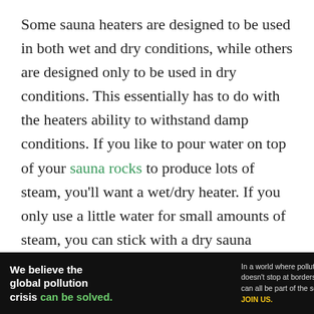Some sauna heaters are designed to be used in both wet and dry conditions, while others are designed only to be used in dry conditions. This essentially has to do with the heaters ability to withstand damp conditions. If you like to pour water on top of your sauna rocks to produce lots of steam, you'll want a wet/dry heater. If you only use a little water for small amounts of steam, you can stick with a dry sauna heater.
Sauna Heater Review...
[Figure (other): Advertisement banner for Pure Earth organization. Black background with white and green text on the left reading 'We believe the global pollution crisis can be solved.' with additional text 'In a world where pollution doesn't stop at borders, we can all be part of the solution. JOIN US.' On the right, the Pure Earth logo with a diamond/triangle icon and 'PURE EARTH' text in white.]